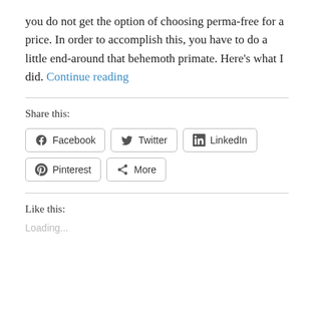you do not get the option of choosing perma-free for a price. In order to accomplish this, you have to do a little end-around that behemoth primate. Here’s what I did. Continue reading
Share this:
Facebook  Twitter  LinkedIn  Pinterest  More
Like this:
Loading...